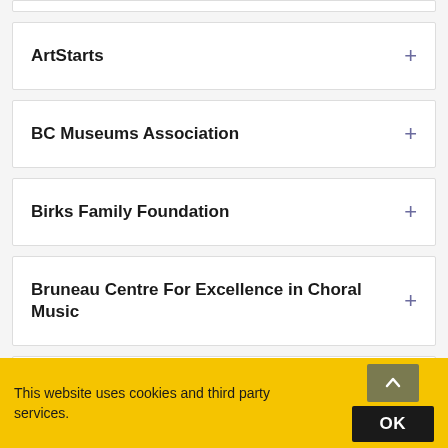ArtStarts
BC Museums Association
Birks Family Foundation
Bruneau Centre For Excellence in Choral Music
Calgary Arts Development
Community One Foundation
This website uses cookies and third party services.